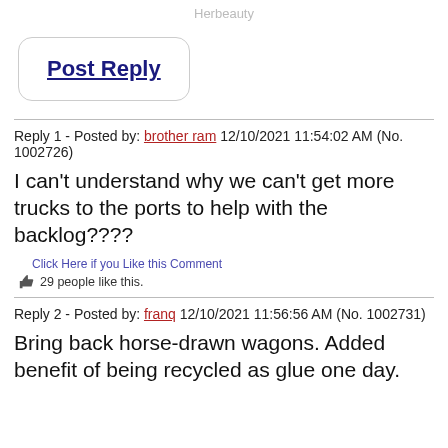Herbeauty
Post Reply
Reply 1 - Posted by: brother ram 12/10/2021 11:54:02 AM (No. 1002726)
I can't understand why we can't get more trucks to the ports to help with the backlog????
Click Here if you Like this Comment
29 people like this.
Reply 2 - Posted by: franq 12/10/2021 11:56:56 AM (No. 1002731)
Bring back horse-drawn wagons. Added benefit of being recycled as glue one day.